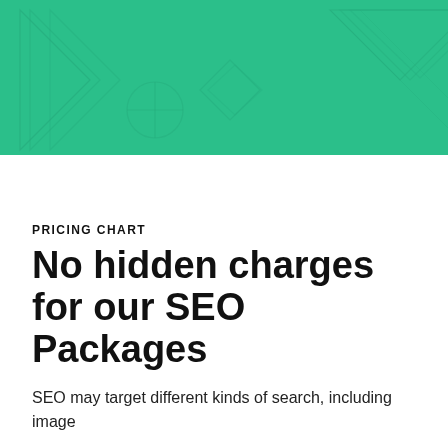[Figure (illustration): Green banner header with decorative geometric/triangular line patterns in a slightly darker green tone]
PRICING CHART
No hidden charges for our SEO Packages
SEO may target different kinds of search, including image